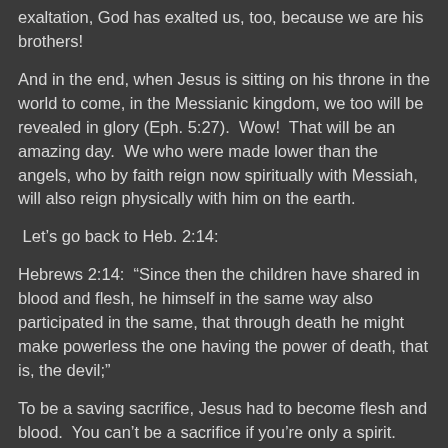exaltation, God has exalted us, too, because we are his brothers!
And in the end, when Jesus is sitting on his throne in the world to come, in the Messianic kingdom, we too will be revealed in glory (Eph. 5:27).  Wow!  That will be an amazing day.  We who were made lower than the angels, who by faith reign now spiritually with Messiah, will also reign physically with him on the earth.
Let’s go back to Heb. 2:14:
Hebrews 2:14:  “Since then the children have shared in blood and flesh, he himself in the same way also participated in the same, that through death he might make powerless the one having the power of death, that is, the devil;”
To be a saving sacrifice, Jesus had to become flesh and blood.  You can’t be a sacrifice if you’re only a spirit.  That’s why Jesus took on humanity to live with us, and also to die for us.  But he didn’t stay dead.  By being victorious over death, he defeated the one with the power of death, the